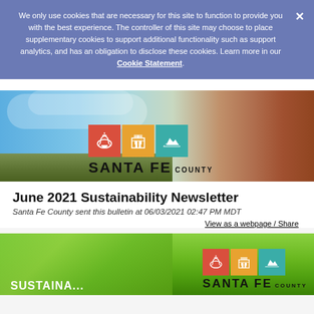We only use cookies that are necessary for this site to function to provide you with the best experience. The controller of this site may choose to place supplementary cookies to support additional functionality such as support analytics, and has an obligation to disclose these cookies. Learn more in our Cookie Statement.
[Figure (photo): Santa Fe County header banner showing blue sky, mountains, desert landscape and red rock formations with Santa Fe County logo icons (red pottery, orange building, teal mountains) and text SANTA FE COUNTY]
June 2021 Sustainability Newsletter
Santa Fe County sent this bulletin at 06/03/2021 02:47 PM MDT
View as a webpage / Share
[Figure (photo): Bottom green/grass background banner with Santa Fe County logo icons (red pottery, orange building, teal mountains) and text SANTA FE COUNTY SUSTAINABILITY partially visible]